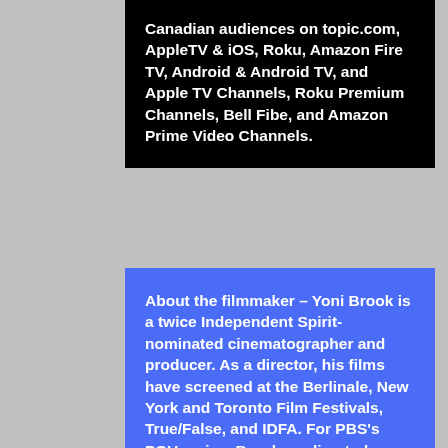Canadian audiences on topic.com, AppleTV & iOS, Roku, Amazon Fire TV, Android & Android TV, and Apple TV Channels, Roku Premium Channels, Bell Fibe, and Amazon Prime Video Channels.
About the filmmaker – Yoni Brook is a twice Independent Spirit-nominated cinematographer and producer. As a director, his films have screened at the Berlinale, New York and Toronto Film Festivals, True/False, and IDFA. For PBS's POV series, Brook co-directed Bronx Princess (with